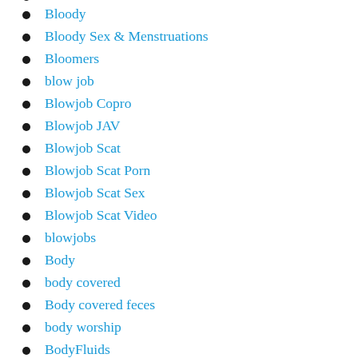Bloody
Bloody Sex & Menstruations
Bloomers
blow job
Blowjob Copro
Blowjob JAV
Blowjob Scat
Blowjob Scat Porn
Blowjob Scat Sex
Blowjob Scat Video
blowjobs
Body
body covered
Body covered feces
body worship
BodyFluids